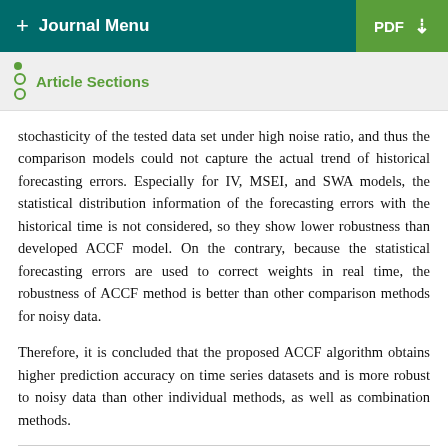+ Journal Menu   PDF ↓
Article Sections
stochasticity of the tested data set under high noise ratio, and thus the comparison models could not capture the actual trend of historical forecasting errors. Especially for IV, MSEI, and SWA models, the statistical distribution information of the forecasting errors with the historical time is not considered, so they show lower robustness than developed ACCF model. On the contrary, because the statistical forecasting errors are used to correct weights in real time, the robustness of ACCF method is better than other comparison methods for noisy data.
Therefore, it is concluded that the proposed ACCF algorithm obtains higher prediction accuracy on time series datasets and is more robust to noisy data than other individual methods, as well as combination methods.
5. Conclusions